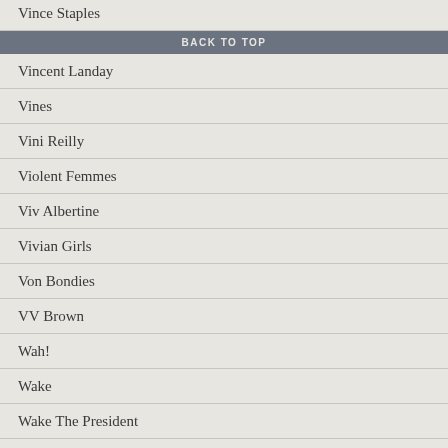Vince Staples
BACK TO TOP
Vincent Landay
Vines
Vini Reilly
Violent Femmes
Viv Albertine
Vivian Girls
Von Bondies
VV Brown
Wah!
Wake
Wake The President
Walkmen
Waltones